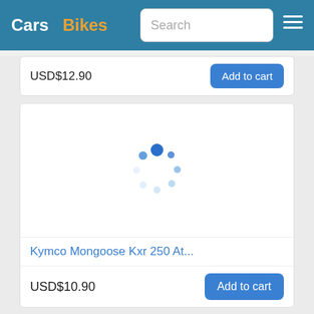Cars  Bikes  Search
USD$12.90
Add to cart
[Figure (other): Loading spinner (animated circular dots) indicating image is loading for a product listing]
Kymco Mongoose Kxr 250 At...
USD$10.90
Add to cart
[Figure (photo): Yellow and black ATV (all-terrain vehicle / quad bike) photographed from the front-left angle]